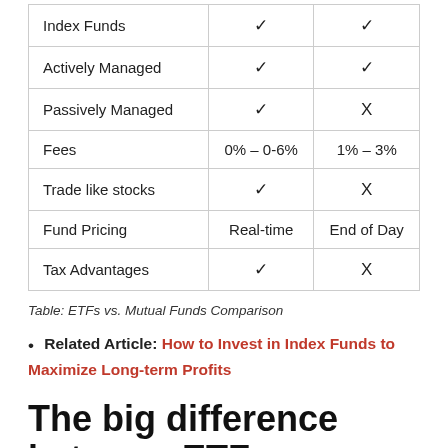|  | ETFs | Mutual Funds |
| --- | --- | --- |
| Index Funds | ✓ | ✓ |
| Actively Managed | ✓ | ✓ |
| Passively Managed | ✓ | X |
| Fees | 0% – 0-6% | 1% – 3% |
| Trade like stocks | ✓ | X |
| Fund Pricing | Real-time | End of Day |
| Tax Advantages | ✓ | X |
Table: ETFs vs. Mutual Funds Comparison
Related Article: How to Invest in Index Funds to Maximize Long-term Profits
The big difference between ETFs